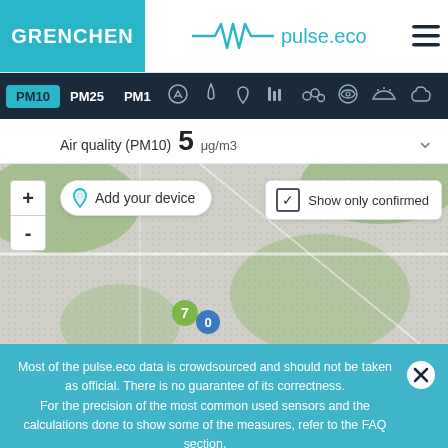GRENCHEN | pulse.eco
PM10  PM25  PM1
Air quality (PM10) 5 μg/m3
[Figure (map): Interactive map showing Grenchen area with sensor markers labeled 7 and 0, zoom controls (+/-), an 'Add your device' button, and a 'Show only confirmed' checkbox.]
Most of the pulse.eco data is crowdsourced and should not be taken as official. There is no guarantee of its correctness.
For the precision of the most common used sensors and the calculations done to show some of the measures, refer to the FAQ section.
pulse.eco uses cookies to personalize your device selection and to make our site easier for you to use. We do NOT store nor share that information with anyone else.